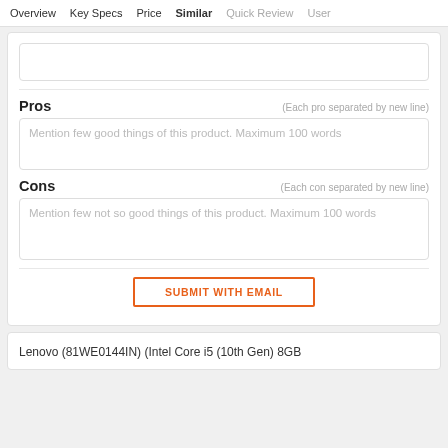Overview   Key Specs   Price   Similar   Quick Review   User
Pros
(Each pro separated by new line)
Mention few good things of this product. Maximum 100 words
Cons
(Each con separated by new line)
Mention few not so good things of this product. Maximum 100 words
SUBMIT WITH EMAIL
Lenovo (81WE0144IN) (Intel Core i5 (10th Gen) 8GB